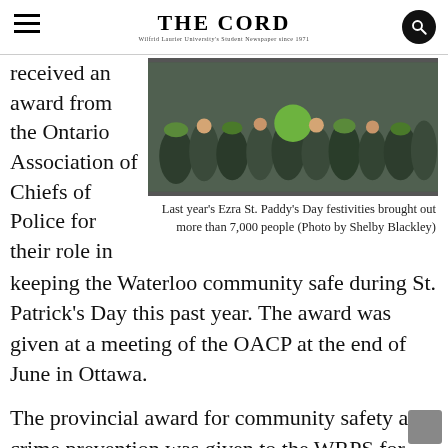THE CORD
received an award from the Ontario Association of Chiefs of Police for their role in
[Figure (photo): Crowd of people wearing green clothing at Ezra St. Paddy's Day festivities]
Last year's Ezra St. Paddy's Day festivities brought out more than 7,000 people (Photo by Shelby Blackley)
keeping the Waterloo community safe during St. Patrick's Day this past year. The award was given at a meeting of the OACP at the end of June in Ottawa.
The provincial award for community safety and crime prevention was given to the WRPS for their St. Patrick's Day 2014 community safety plan.